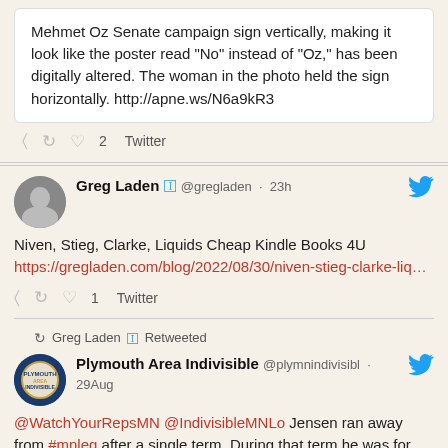Mehmet Oz Senate campaign sign vertically, making it look like the poster read “No” instead of “Oz,” has been digitally altered. The woman in the photo held the sign horizontally. http://apne.ws/N6a9kR3
2  Twitter
Greg Laden @gregladen · 23h
Niven, Stieg, Clarke, Liquids Cheap Kindle Books 4U https://gregladen.com/blog/2022/08/30/niven-stieg-clarke-liq…
1  Twitter
Greg Laden Retweeted
Plymouth Area Indivisible @plymnindivisibl · 29Aug
@WatchYourRepsMN @IndivisibleMNLo Jensen ran away from #mnleg after a single term. During that term he was for sensible gun laws before he was against them. Once he found a way to grab attention without doing much work